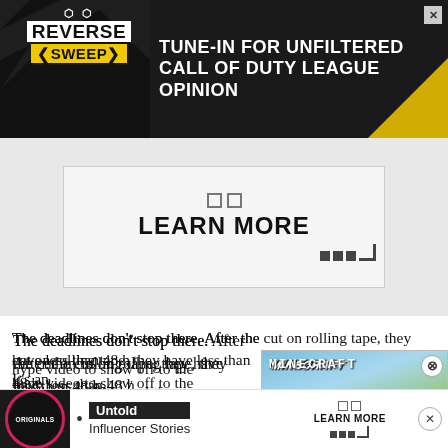[Figure (infographic): Reverse Sweep advertisement banner: dark background with logo showing 'REVERSE SWEEP' in yellow/white, text reads 'TUNE-IN FOR UNFILTERED CALL OF DUTY LEAGUE OPINION']
[Figure (infographic): Secondary ad area with 'LEARN MORE' text, two small squares, and dotted corner decoration on light gray background]
The deadlines don't stop there. After the cut on rolling tape, they have less than 48 hours to put together a hype video to show off to the world, with a strict deadline of 4PM local time on Sunday — giving some breathing room on socials before games start.
[Figure (screenshot): Minecraft video game advertisement with yellow background, game thumbnail with play button, and 'MINECRAFT!' label]
It's an... onths
[Figure (infographic): Bottom advertisement bar: Originals logo, bullet point, 'Untold' label and 'Influencer Stories' text, 'LEARN MORE' button with dots]